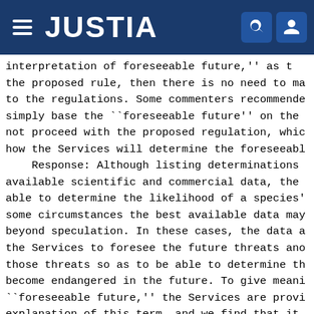JUSTIA
interpretation of  foreseeable future,'' as t the proposed rule, then there is no need to ma to the regulations. Some commenters recommende simply base the ``foreseeable future'' on the not proceed with the proposed regulation, whic how the Services will determine the foreseeable
    Response: Although listing determinations available scientific and commercial data, the able to determine the likelihood of a species' some circumstances the best available data may beyond speculation. In these cases, the data a the Services to foresee the future threats ano those threats so as to be able to determine th become endangered in the future. To give meani ``foreseeable future,'' the Services are provi explanation of this term, and we find that it in our implementing regulations. While the two